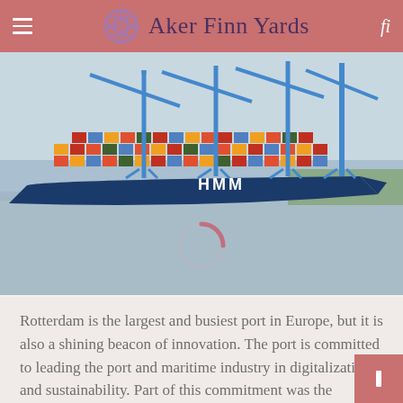Aker Finn Yards
[Figure (photo): HMM container ship docked at Rotterdam port with blue cranes and stacked colorful shipping containers, viewed from the water.]
Rotterdam is the largest and busiest port in Europe, but it is also a shining beacon of innovation. The port is committed to leading the port and maritime industry in digitalization and sustainability. Part of this commitment was the creation of a port innovation ecosystem, encouraging various